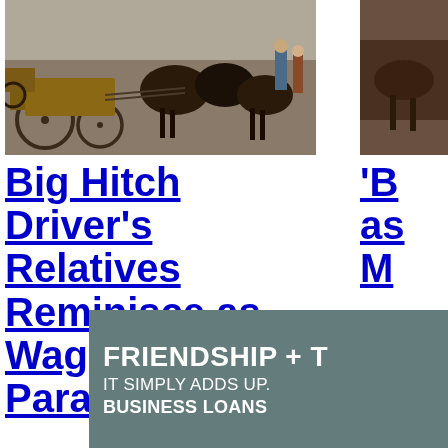[Figure (photo): Wagon parade photo with horses and wagons on a street, people visible in background]
Big Hitch Driver's Relatives Reminisce as Wagon Days Parade Rolls
[Figure (photo): Partial photo on right side, cropped]
'B as M
[Figure (photo): Advertisement banner: FRIENDSHIP + T IT SIMPLY ADDS UP. BUSINESS LOANS]